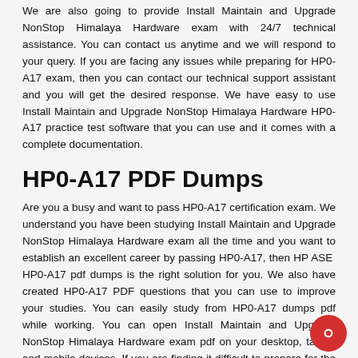We are also going to provide Install Maintain and Upgrade NonStop Himalaya Hardware exam with 24/7 technical assistance. You can contact us anytime and we will respond to your query. If you are facing any issues while preparing for HP0-A17 exam, then you can contact our technical support assistant and you will get the desired response. We have easy to use Install Maintain and Upgrade NonStop Himalaya Hardware HP0-A17 practice test software that you can use and it comes with a complete documentation.
HP0-A17 PDF Dumps
Are you a busy and want to pass HP0-A17 certification exam. We understand you have been studying Install Maintain and Upgrade NonStop Himalaya Hardware exam all the time and you want to establish an excellent career by passing HP0-A17, then HP ASE  HP0-A17 pdf dumps is the right solution for you. We also have created HP0-A17 PDF questions that you can use to improve your studies. You can easily study from HP0-A17 dumps pdf while working. You can open Install Maintain and Upgrade NonStop Himalaya Hardware exam pdf on your desktop, tablet, and mobile devices. If you are finding it difficult to prepare for the HP0-A17 exam, then you can get some free time from your work and start preparing for the HP0-A17 exam.
HP0-A17 Practice test